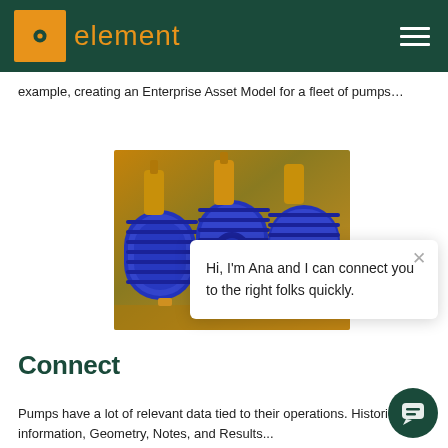element
example, creating an Enterprise Asset Model for a fleet of pumps…
[Figure (photo): Industrial blue electric pump motors in a row with yellow piping in the background]
Hi, I'm Ana and I can connect you to the right folks quickly.
Connect
Pumps have a lot of relevant data tied to their operations. Historical information, Geometry, Notes, and Results...